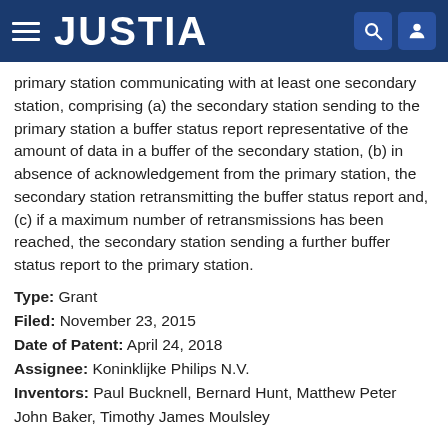JUSTIA
primary station communicating with at least one secondary station, comprising (a) the secondary station sending to the primary station a buffer status report representative of the amount of data in a buffer of the secondary station, (b) in absence of acknowledgement from the primary station, the secondary station retransmitting the buffer status report and, (c) if a maximum number of retransmissions has been reached, the secondary station sending a further buffer status report to the primary station.
Type: Grant
Filed: November 23, 2015
Date of Patent: April 24, 2018
Assignee: Koninklijke Philips N.V.
Inventors: Paul Bucknell, Bernard Hunt, Matthew Peter John Baker, Timothy James Moulsley